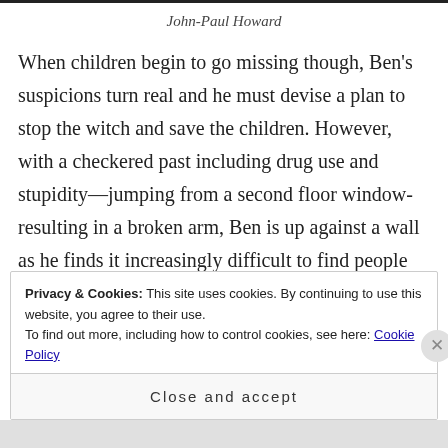John-Paul Howard
When children begin to go missing though, Ben's suspicions turn real and he must devise a plan to stop the witch and save the children. However, with a checkered past including drug use and stupidity—jumping from a second floor window-resulting in a broken arm, Ben is up against a wall as he finds it increasingly difficult to find people who believe in him.
Advertisements
Privacy & Cookies: This site uses cookies. By continuing to use this website, you agree to their use.
To find out more, including how to control cookies, see here: Cookie Policy
Close and accept